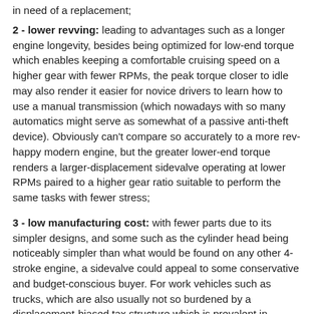in need of a replacement;
2 - lower revving: leading to advantages such as a longer engine longevity, besides being optimized for low-end torque which enables keeping a comfortable cruising speed on a higher gear with fewer RPMs, the peak torque closer to idle may also render it easier for novice drivers to learn how to use a manual transmission (which nowadays with so many automatics might serve as somewhat of a passive anti-theft device). Obviously can't compare so accurately to a more rev-happy modern engine, but the greater lower-end torque renders a larger-displacement sidevalve operating at lower RPMs paired to a higher gear ratio suitable to perform the same tasks with fewer stress;
3 - low manufacturing cost: with fewer parts due to its simpler designs, and some such as the cylinder head being noticeably simpler than what would be found on any other 4-stroke engine, a sidevalve could appeal to some conservative and budget-conscious buyer. For work vehicles such as trucks, which are also usually not so burdened by a displacement-biased tax structure which is prevalent in Europe and South America, this advantage may prove in